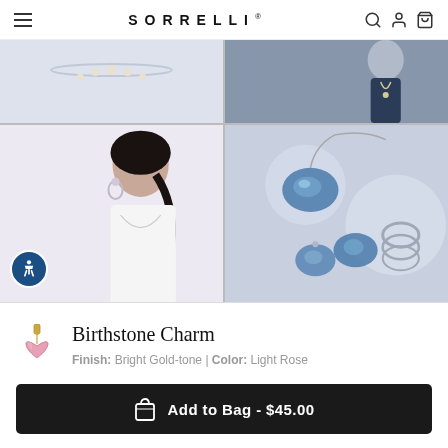SORRELLI
[Figure (photo): Four product/lifestyle photos in a 2x2 grid: top-left shows a light gray product photo background, top-right shows a woman in a blue dress wearing a necklace, bottom-left shows a smiling woman with hoop earrings and necklace in a white outfit, bottom-right shows blue-green crystal jewelry (necklace, earrings, and ring) on a silver background]
[Figure (photo): Small product thumbnail of a gold-tone birthstone charm with a light rose crystal heart]
Birthstone Charm
Finish: Bright Gold-tone | Color: Light Rose
Add to Bag - $45.00